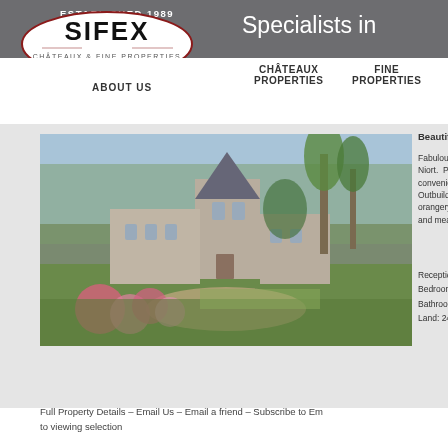ESTABLISHED 1989
[Figure (logo): SIFEX logo — oval outline with text SIFEX large and CHÂTEAUX & FINE PROPERTIES below in smaller text, dark red oval border]
Specialists in
CHÂTEAUX PROPERTIES
FINE PROPERTIES
ABOUT US
[Figure (photo): Photograph of a French château — a grand stone building with a conical tower, surrounded by formal gardens with pink hydrangeas in the foreground and trees behind]
Beautiful re
Fabulous 1 Niort. Pe convenient Outbuilding orangery, b and meado
Reception R Bedrooms: Bathrooms: Land: 24 ha
Full Property Details - Email Us - Email a friend - Subscribe to Em to viewing selection